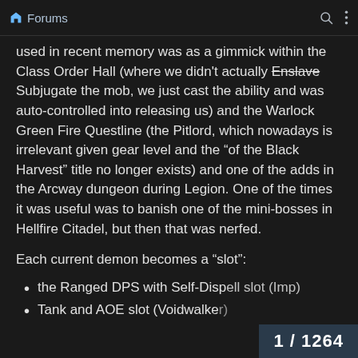Forums
used in recent memory was as a gimmick within the Class Order Hall (where we didn't actually Enslave Subjugate the mob, we just cast the ability and was auto-controlled into releasing us) and the Warlock Green Fire Questline (the Pitlord, which nowadays is irrelevant given gear level and the “of the Black Harvest” title no longer exists) and one of the adds in the Arcway dungeon during Legion. One of the times it was useful was to banish one of the mini-bosses in Hellfire Citadel, but then that was nerfed.
Each current demon becomes a “slot”:
the Ranged DPS with Self-Dispell slot (Imp)
Tank and AOE slot (Voidwalker)